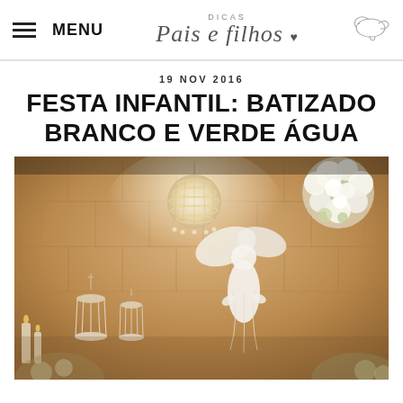MENU | DICAS Pais e filhos
19 NOV 2016
FESTA INFANTIL: BATIZADO BRANCO E VERDE ÁGUA
[Figure (photo): Baptism party decoration with white angel figurine, ornate chandelier ball, white flower arrangements, decorative birdcages, and candles on a wooden background]